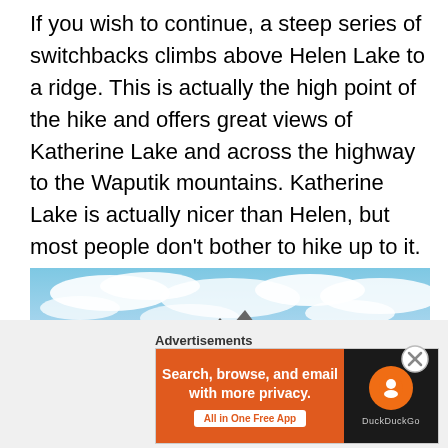If you wish to continue, a steep series of switchbacks climbs above Helen Lake to a ridge. This is actually the high point of the hike and offers great views of Katherine Lake and across the highway to the Waputik mountains. Katherine Lake is actually nicer than Helen, but most people don't bother to hike up to it. If you continue beyond Katherine Lake, the trail descends to Dolomite Pass. It's a wide open grassy pass with amazing view of the ragged peaks of Dolomite Peak. This is the view of the mountain that reminded early mountaineers of the Dolomites in Italy.
[Figure (photo): Mountain landscape with rocky peaks under a partly cloudy blue sky]
Advertisements
[Figure (illustration): DuckDuckGo advertisement banner: 'Search, browse, and email with more privacy. All in One Free App' with DuckDuckGo logo on dark background]